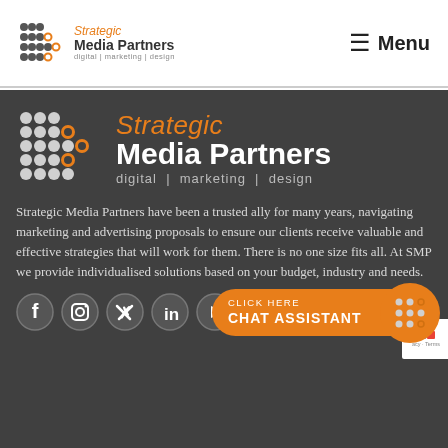[Figure (logo): Strategic Media Partners logo in navigation bar with dot-grid icon, company name, and tagline 'digital | marketing | design']
≡  Menu
[Figure (logo): Large Strategic Media Partners logo on dark background with orange dot-grid icon, orange 'Strategic', white bold 'Media Partners', grey tagline 'digital | marketing | design']
Strategic Media Partners have been a trusted ally for many years, navigating marketing and advertising proposals to ensure our clients receive valuable and effective strategies that will work for them. There is no one size fits all. At SMP we provide individualised solutions based on your budget, industry and needs.
[Figure (infographic): Social media icons row (Facebook, Instagram, Twitter, LinkedIn, YouTube) and orange chat button reading 'CLICK HERE / CHAT ASSISTANT' with circular SMP logo bubble]